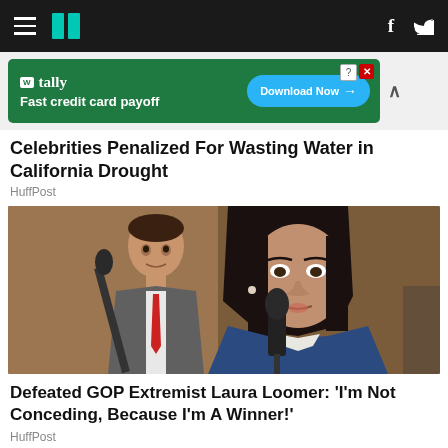HuffPost navigation bar with hamburger menu, logo, Facebook and Twitter icons
[Figure (screenshot): Tally advertisement banner: 'Fast credit card payoff' with Download Now button]
Celebrities Penalized For Wasting Water in California Drought
HuffPost
[Figure (photo): A woman with black hair in a blue jacket speaks into a microphone at a press conference; a man in a gray suit and red tie stands behind her]
Defeated GOP Extremist Laura Loomer: 'I'm Not Conceding, Because I'm A Winner!'
HuffPost